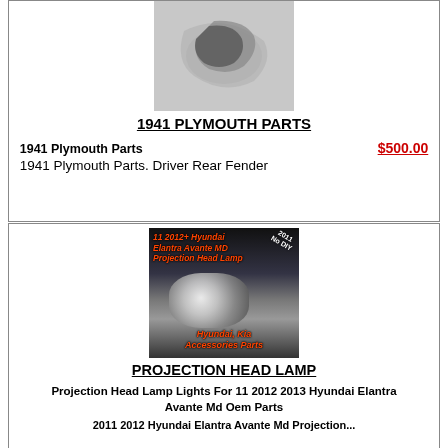[Figure (photo): Photo of 1941 Plymouth car part (rear fender area), shown from above on pavement]
1941 PLYMOUTH PARTS
1941 Plymouth Parts   $500.00
1941 Plymouth Parts. Driver Rear Fender
[Figure (photo): Product listing image for Hyundai Elantra Avante MD Projection Head Lamp with blue background and red/orange text overlay; shows headlamp photo]
PROJECTION HEAD LAMP
Projection Head Lamp Lights For 11 2012 2013 Hyundai Elantra Avante Md Oem Parts
2011 2012 Hyundai Elantra Avante Md Projection...